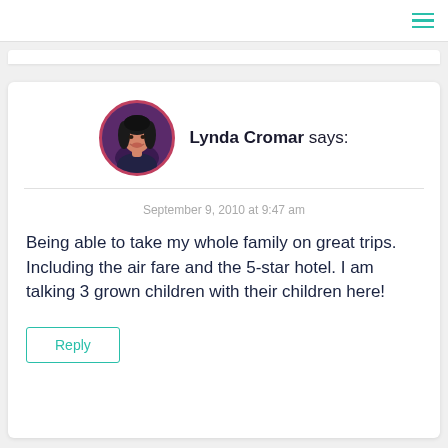☰ (hamburger menu icon)
[Figure (photo): Circular avatar photo of Lynda Cromar, a woman with dark hair, with a dark purple and pink border]
Lynda Cromar says:
September 9, 2010 at 9:47 am
Being able to take my whole family on great trips. Including the air fare and the 5-star hotel. I am talking 3 grown children with their children here!
Reply